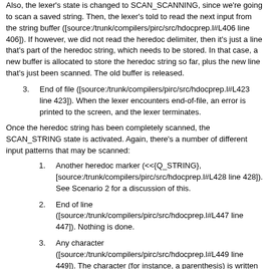Also, the lexer's state is changed to SCAN_SCANNING, since we're going to scan a saved string. Then, the lexer's told to read the next input from the string buffer ([source:/trunk/compilers/pirc/src/hdocprep.l#L406 line 406]). If however, we did not read the heredoc delimiter, then it's just a line that's part of the heredoc string, which needs to be stored. In that case, a new buffer is allocated to store the heredoc string so far, plus the new line that's just been scanned. The old buffer is released.
End of file ([source:/trunk/compilers/pirc/src/hdocprep.l#L423 line 423]). When the lexer encounters end-of-file, an error is printed to the screen, and the lexer terminates.
Once the heredoc string has been completely scanned, the SCAN_STRING state is activated. Again, there's a number of different input patterns that may be scanned:
Another heredoc marker (<<{Q_STRING}, [source:/trunk/compilers/pirc/src/hdocprep.l#L428 line 428]). See Scenario 2 for a discussion of this.
End of line ([source:/trunk/compilers/pirc/src/hdocprep.l#L447 line 447]). Nothing is done.
Any character ([source:/trunk/compilers/pirc/src/hdocprep.l#L449 line 449]). The character (for instance, a parenthesis) is written to the output.
End of file ([source:/trunk/compilers/pirc/src/hdocprep.l#L451 line 451]). End of file, in this context, means end-of-string. So...